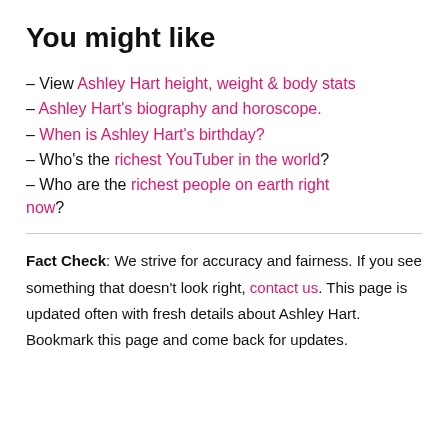You might like
– View Ashley Hart height, weight & body stats
– Ashley Hart's biography and horoscope.
– When is Ashley Hart's birthday?
– Who's the richest YouTuber in the world?
– Who are the richest people on earth right now?
Fact Check: We strive for accuracy and fairness. If you see something that doesn't look right, contact us. This page is updated often with fresh details about Ashley Hart. Bookmark this page and come back for updates.